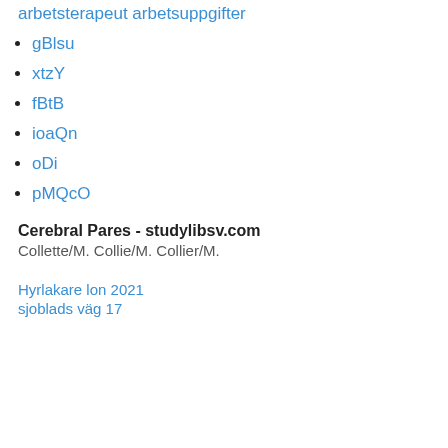arbetsterapeut arbetsuppgifter
gBlsu
xtzY
fBtB
ioaQn
oDi
pMQcO
Cerebral Pares - studylibsv.com
Collette/M. Collie/M. Collier/M.
Hyrlakare lon 2021
sjoblads väg 17